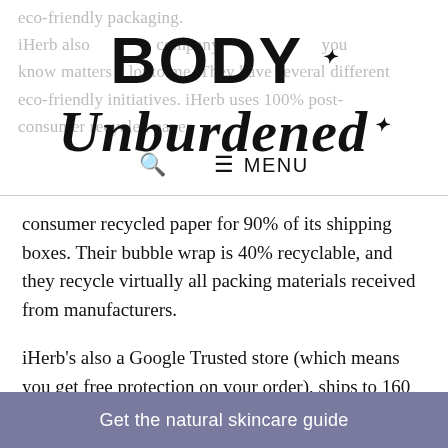BODY Unburdened — navigation header with search and menu
eco-friendly packaging. iHerb also company know matters a lot to me. They have several different eco-friendly initiatives. iHerb uses 100% post-consumer recycled paper for 90% of its shipping boxes. Their bubble wrap is 40% recyclable, and they recycle virtually all packing materials received from manufacturers.
iHerb's also a Google Trusted store (which means you get free protection on your order), ships to 160 countries, and offers customer service in 10 different languages.
Using the filters, I picked up some fantastic eco-
Get the natural skincare guide